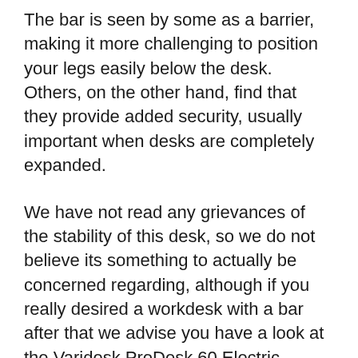The bar is seen by some as a barrier, making it more challenging to position your legs easily below the desk. Others, on the other hand, find that they provide added security, usually important when desks are completely expanded.
We have not read any grievances of the stability of this desk, so we do not believe its something to actually be concerned regarding, although if you really desired a workdesk with a bar after that we advise you have a look at the Varidesk ProDesk 60 Electric.
Conversely, StandDesk does offer a different add-on crossbar that you can add to the desk on your own, just for an additional